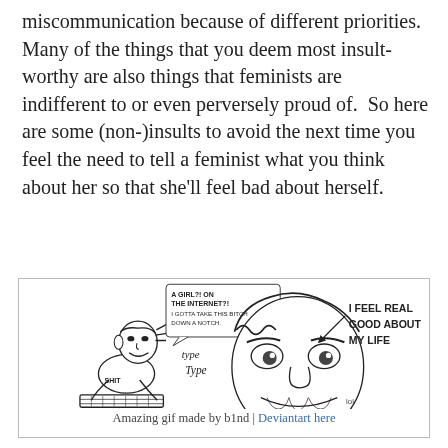miscommunication because of different priorities. Many of the things that you deem most insult-worthy are also things that feminists are indifferent to or even perversely proud of.  So here are some (non-)insults to avoid the next time you feel the need to tell a feminist what you think about her so that she’ll feel bad about herself.
[Figure (illustration): A two-panel comic strip. Left panel: a person typing at a keyboard with speech bubble 'A GIRL?! ON THE INTERNET?! I GOTTA TAKE THIS BITCH DOWN A NOTCH.' and 'type Type' text and 'SHIT' label. Right panel: a close-up of a grinning face with text 'I FEEL REAL GOOD ABOUT MY LIFE'.]
Amazing gif made by b1nd | Deviantart here